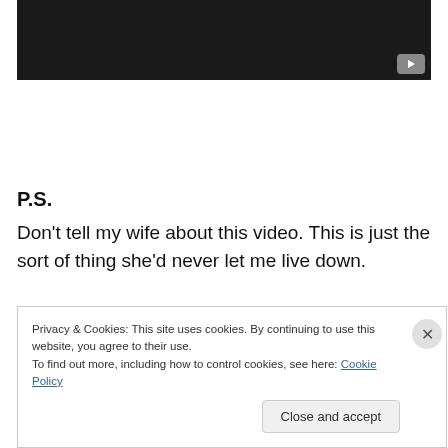[Figure (screenshot): Dark/black video thumbnail with a YouTube play button in the bottom-right corner]
P.S.
Don't tell my wife about this video. This is just the sort of thing she'd never let me live down.
Privacy & Cookies: This site uses cookies. By continuing to use this website, you agree to their use.
To find out more, including how to control cookies, see here: Cookie Policy
Close and accept